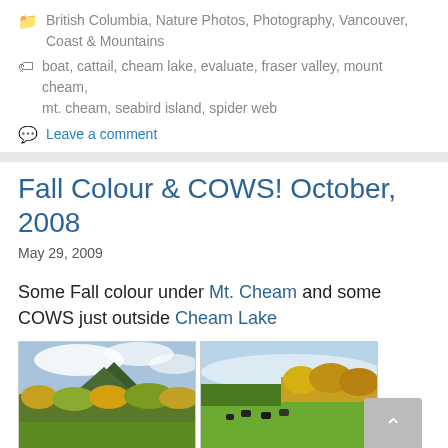British Columbia, Nature Photos, Photography, Vancouver, Coast & Mountains
boat, cattail, cheam lake, evaluate, fraser valley, mount cheam, mt. cheam, seabird island, spider web
Leave a comment
Fall Colour & COWS! October, 2008
May 29, 2009
Some Fall colour under Mt. Cheam and some COWS just outside Cheam Lake
[Figure (photo): Two landscape photographs side by side: left shows a mountain with autumn foliage and cloudy sky; right shows cows grazing in a field with yellow autumn trees.]